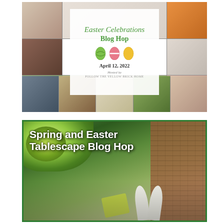[Figure (photo): Collage of Easter-themed photos arranged in a grid with a white center card overlay showing 'Easter Celebrations Blog Hop' with Easter egg illustrations, date April 12, 2022, and hosted by Follow The Yellow Brick Home]
[Figure (photo): Photo of spring/Easter tablescape with green floral arrangements and white bunny decorations, with text overlay 'Spring and Easter Tablescape Blog Hop', framed with a green border]